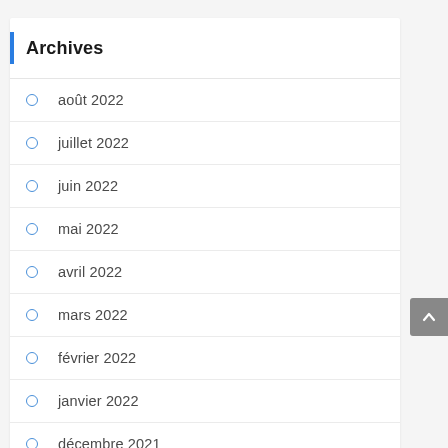Archives
août 2022
juillet 2022
juin 2022
mai 2022
avril 2022
mars 2022
février 2022
janvier 2022
décembre 2021